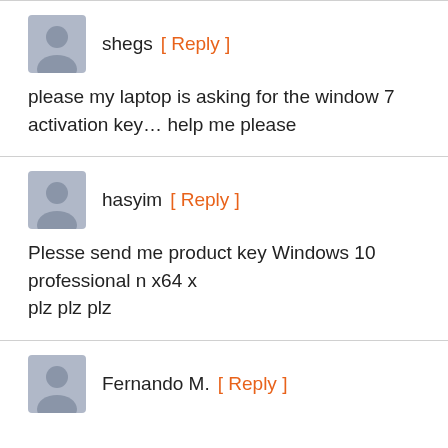shegs [ Reply ]
please my laptop is asking for the window 7 activation key… help me please
hasyim [ Reply ]
Plesse send me product key Windows 10 professional n x64 x
plz plz plz
Fernando M. [ Reply ]